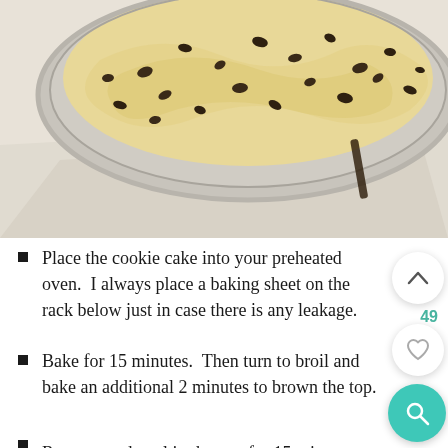[Figure (photo): Overhead view of a mixing bowl containing chocolate chip cookie dough batter, with parchment paper beneath.]
Place the cookie cake into your preheated oven. I always place a baking sheet on the rack below just in case there is any leakage.
Bake for 15 minutes. Then turn to broil and bake an additional 2 minutes to brown the top.
Remove and cool in the pan for 15 minutes...